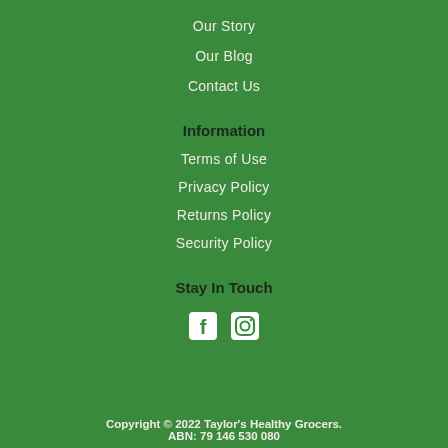Our Story
Our Blog
Contact Us
Information
Terms of Use
Privacy Policy
Returns Policy
Security Policy
Stay In Touch
[Figure (other): Social media icons: Facebook and Instagram]
Copyright © 2022 Taylor's Healthy Grocers. ABN: 79 146 530 080